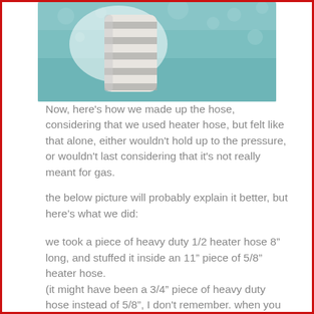[Figure (photo): Photo of a striped hose or fitting pressed into teal/blue fuzzy material]
Now, here's how we made up the hose, considering that we used heater hose, but felt like that alone, either wouldn't hold up to the pressure, or wouldn't last considering that it's not really meant for gas.
the below picture will probably explain it better, but here's what we did:
we took a piece of heavy duty 1/2 heater hose 8" long, and stuffed it inside an 11" piece of 5/8" heater hose.
(it might have been a 3/4" piece of heavy duty hose instead of 5/8", I don't remember. when you are at the store acquiring your new rubber hose, physically put one into the other. there shouldn't be any gap in the 2, or a very minimal amount).
the inside hose is about 1.5" from the barb end, with the bigger hose (only) attached to the barb using 2 clamps. this in effect.